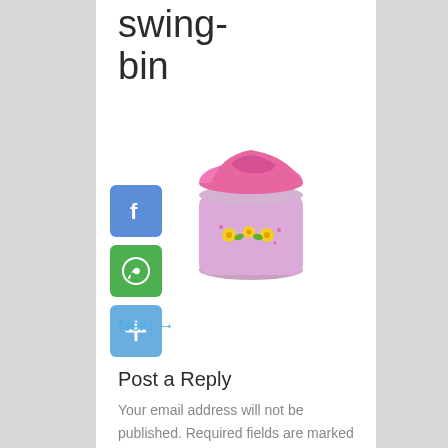swing-bin
[Figure (photo): Pink plastic swing-bin with a hinged lid and yellow floral decoration around the middle.]
Next →
Post a Reply
Your email address will not be published. Required fields are marked *